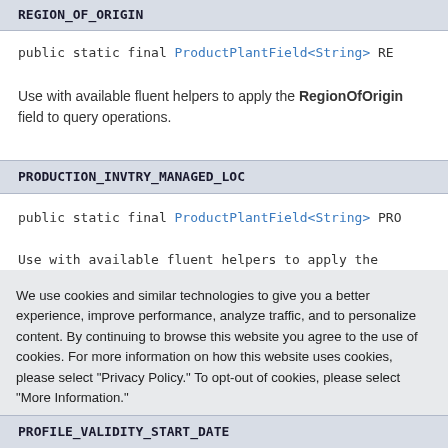REGION_OF_ORIGIN
public static final ProductPlantField<String> RE...
Use with available fluent helpers to apply the RegionOfOrigin field to query operations.
PRODUCTION_INVTRY_MANAGED_LOC
public static final ProductPlantField<String> PRO...
Use with available fluent helpers to apply the...
We use cookies and similar technologies to give you a better experience, improve performance, analyze traffic, and to personalize content. By continuing to browse this website you agree to the use of cookies. For more information on how this website uses cookies, please select "Privacy Policy." To opt-out of cookies, please select "More Information."
Accept Cookies
More Information
Privacy Policy | Powered by: TrustArc
PROFILE_VALIDITY_START_DATE